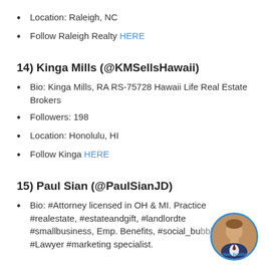Location: Raleigh, NC
Follow Raleigh Realty HERE
14) Kinga Mills (@KMSellsHawaii)
Bio: Kinga Mills, RA RS-75728 Hawaii Life Real Estate Brokers
Followers: 198
Location: Honolulu, HI
Follow Kinga HERE
15) Paul Sian (@PaulSianJD)
Bio: #Attorney licensed in OH & MI. Practice #realestate, #estateandgift, #landlordtenant, #smallbusiness, Emp. Benefits, #socialmedia, #Lawyer #marketing specialist.